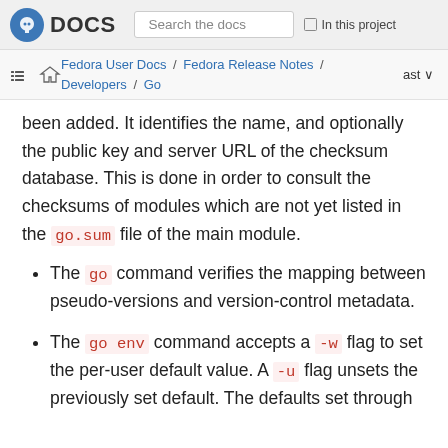DOCS | Search the docs | In this project
Fedora User Docs / Fedora Release Notes / Developers / Go | ast
been added. It identifies the name, and optionally the public key and server URL of the checksum database. This is done in order to consult the checksums of modules which are not yet listed in the go.sum file of the main module.
The go command verifies the mapping between pseudo-versions and version-control metadata.
The go env command accepts a -w flag to set the per-user default value. A -u flag unsets the previously set default. The defaults set through